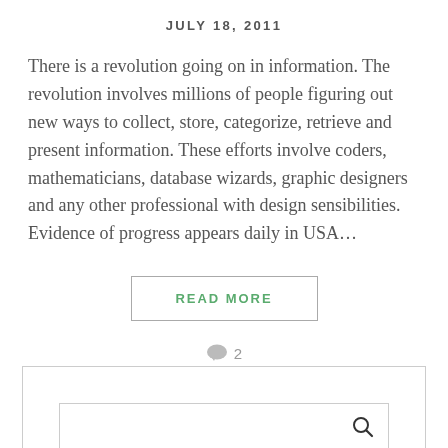JULY 18, 2011
There is a revolution going on in information. The revolution involves millions of people figuring out new ways to collect, store, categorize, retrieve and present information. These efforts involve coders, mathematicians, database wizards, graphic designers and any other professional with design sensibilities. Evidence of progress appears daily in USA…
READ MORE
2
[Figure (screenshot): Search box widget with a search icon on the right side, bordered rectangle input field inside a bordered container box]